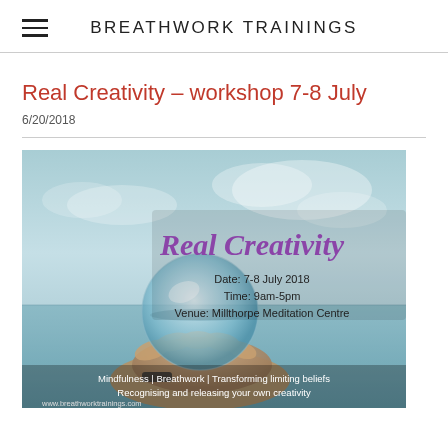BREATHWORK TRAININGS
Real Creativity – workshop 7-8 July
6/20/2018
[Figure (illustration): Event flyer for 'Real Creativity' workshop showing a hand holding a crystal ball against a teal/sky background. Text overlay reads: 'Real Creativity', 'Date: 7-8 July 2018', 'Time: 9am-5pm', 'Venue: Millthorpe Meditation Centre', 'Mindfulness | Breathwork | Transforming limiting beliefs', 'Recognising and releasing your own creativity', 'www.breathworktrainings.com']